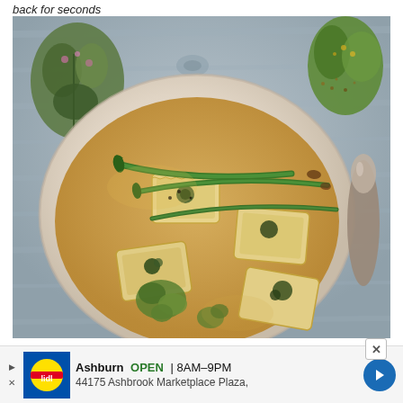back for seconds
[Figure (photo): Overhead photo of a bowl of ravioli with asparagus, broccoli, and herbs in a golden broth, on a rustic wooden surface with fresh herbs and a spoon nearby]
[Figure (infographic): Advertisement banner: Lidl store ad showing Ashburn OPEN 8AM-9PM, 44175 Ashbrook Marketplace Plaza, with blue navigation arrow icon]